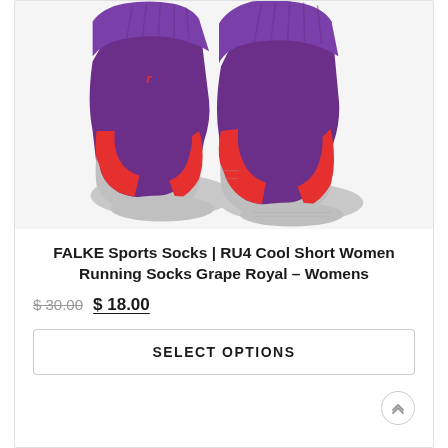[Figure (photo): A pair of FALKE running socks in purple/grape royal and red/coral colors with light gray toe and heel areas, shown from the front on a white background.]
FALKE Sports Socks | RU4 Cool Short Women Running Socks Grape Royal – Womens
$30.00  $18.00
SELECT OPTIONS